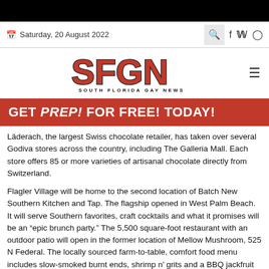Saturday, 20 August 2022
[Figure (logo): SFGN South Florida Gay News logo with red stylized letters and black outline]
[Figure (infographic): Red advertisement banner: GET PrEP! FOR FREE! TODAY!]
Läderach, the largest Swiss chocolate retailer, has taken over several Godiva stores across the country, including The Galleria Mall. Each store offers 85 or more varieties of artisanal chocolate directly from Switzerland.
Flagler Village will be home to the second location of Batch New Southern Kitchen and Tap. The flagship opened in West Palm Beach. It will serve Southern favorites, craft cocktails and what it promises will be an “epic brunch party.” The 5,500 square-foot restaurant with an outdoor patio will open in the former location of Mellow Mushroom, 525 N Federal. The locally sourced farm-to-table, comfort food menu includes slow-smoked burnt ends, shrimp n’ grits and a BBQ jackfruit “pulled pork” sandwich. An